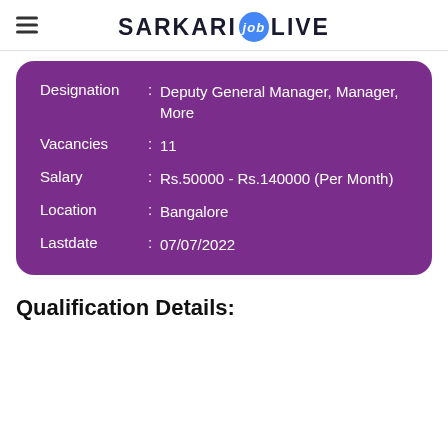SARKARI job LIVE
| Field | Sep | Value |
| --- | --- | --- |
| Designation | : | Deputy General Manager, Manager, More |
| Vacancies | : | 11 |
| Salary | : | Rs.50000 - Rs.140000 (Per Month) |
| Location | : | Bangalore |
| Lastdate | : | 07/07/2022 |
Qualification Details: